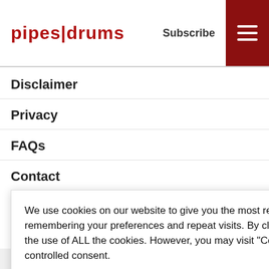pipes|drums  Subscribe
Disclaimer
Privacy
FAQs
Contact
We use cookies on our website to give you the most relevant experience by remembering your preferences and repeat visits. By clicking “Accept All”, you consent to the use of ALL the cookies. However, you may visit "Cookie Policy" to provide a controlled consent.
Cookie Policy  Reject All  Accept All
served.